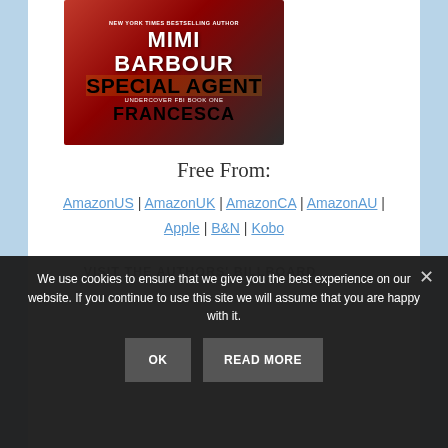[Figure (illustration): Book cover for 'Special Agent Francesca' by Mimi Barbour, Undercover FBI Book One. Red background with author name at top in white, 'SPECIAL AGENT' in large black text, subtitle 'UNDERCOVER FBI BOOK ONE' in small white text, and 'FRANCESCA' in large black text at bottom.]
Free From:
AmazonUS | AmazonUK | AmazonCA | AmazonAU | Apple | B&N | Kobo
VISIT THE AUTHORS' BILLBOARD
We use cookies to ensure that we give you the best experience on our website. If you continue to use this site we will assume that you are happy with it.
OK
READ MORE